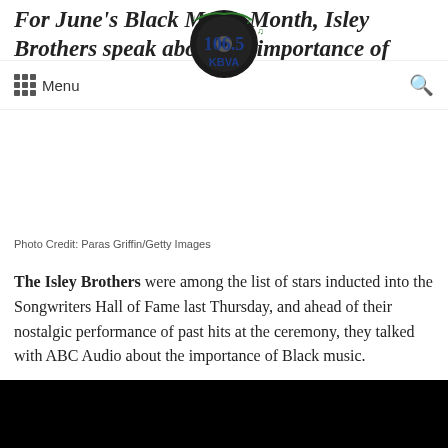For June's Black Music Month, Isley Brothers speak about the importance of Black music
[Figure (logo): 106.5 KBVA radio station logo with vinyl record and musical notes]
Menu
Photo Credit: Paras Griffin/Getty Images
The Isley Brothers were among the list of stars inducted into the Songwriters Hall of Fame last Thursday, and ahead of their nostalgic performance of past hits at the ceremony, they talked with ABC Audio about the importance of Black music.
“So much of the music, in terms of its foundation, comes from Black artists,” said Ernie Isley, who was joined on the carpet